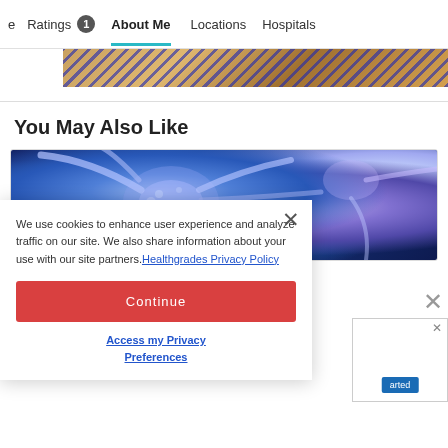Ratings 1  About Me  Locations  Hospitals
[Figure (photo): Partial advertisement banner with diagonal blue stripe pattern over a golden/brown background image]
You May Also Like
[Figure (photo): Close-up illustration of blue/purple neuron cells with glowing synaptic connections on a dark blue background]
We use cookies to enhance user experience and analyze traffic on our site. We also share information about your use with our site partners. Healthgrades Privacy Policy
Continue
Access my Privacy Preferences